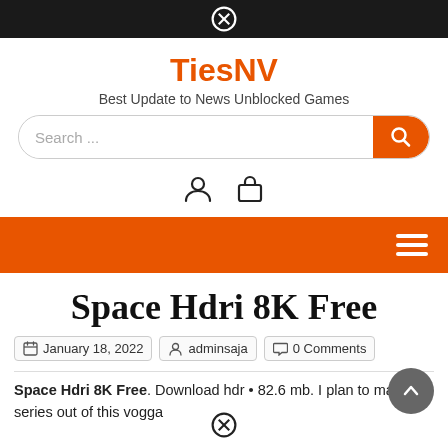TiesNV — Best Update to News Unblocked Games
Space Hdri 8K Free
January 18, 2022 · adminsaja · 0 Comments
Space Hdri 8K Free. Download hdr • 82.6 mb. I plan to make a series out of this vogga